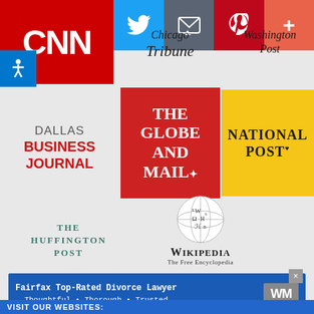[Figure (screenshot): Social share bar with share count 0, Facebook, Twitter, Email, Pinterest, and More buttons]
[Figure (logo): CNN logo - red background with white CNN text]
[Figure (logo): Chicago Tribune logo in black serif italic font]
[Figure (logo): Washington Post logo in black serif italic font]
[Figure (logo): Dallas Business Journal logo in dark red bold text]
[Figure (logo): The Globe and Mail logo - red background with white text]
[Figure (logo): National Post logo - yellow background with black bold text]
[Figure (logo): The Huffington Post logo in teal serif text]
[Figure (logo): Wikipedia - The Free Encyclopedia logo with globe graphic]
[Figure (screenshot): Ad banner: Fairfax Top-Rated Divorce Lawyer Thoughtful Thorough Trusted with WM logo]
VISIT OUR WEBSITES: